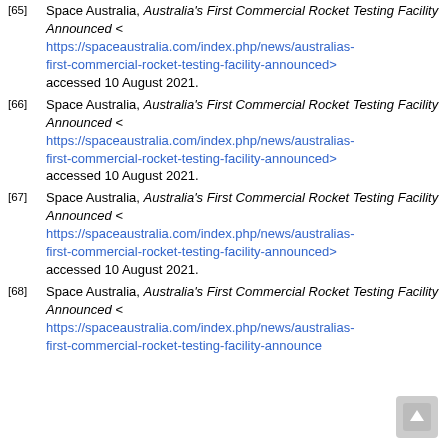[65] Space Australia, Australia's First Commercial Rocket Testing Facility Announced < https://spaceaustralia.com/index.php/news/australias-first-commercial-rocket-testing-facility-announced> accessed 10 August 2021.
[66] Space Australia, Australia's First Commercial Rocket Testing Facility Announced < https://spaceaustralia.com/index.php/news/australias-first-commercial-rocket-testing-facility-announced> accessed 10 August 2021.
[67] Space Australia, Australia's First Commercial Rocket Testing Facility Announced < https://spaceaustralia.com/index.php/news/australias-first-commercial-rocket-testing-facility-announced> accessed 10 August 2021.
[68] Space Australia, Australia's First Commercial Rocket Testing Facility Announced < https://spaceaustralia.com/index.php/news/australias-first-commercial-rocket-testing-facility-announced> accessed 10 August 2021.